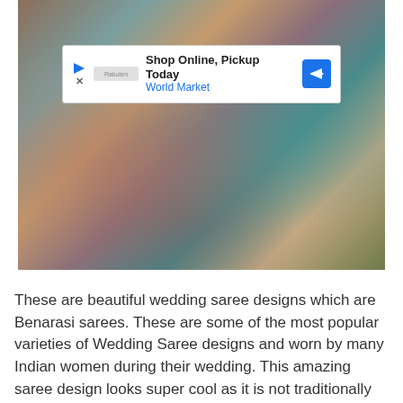[Figure (photo): Close-up photo of women wearing colorful Benarasi wedding sarees — mauve/pink floral and teal/green — showing their hands with mehndi and rings.]
These are beautiful wedding saree designs which are Benarasi sarees. These are some of the most popular varieties of Wedding Saree designs and worn by many Indian women during their wedding. This amazing saree design looks super cool as it is not traditionally red. The floral blouse is also super charming.